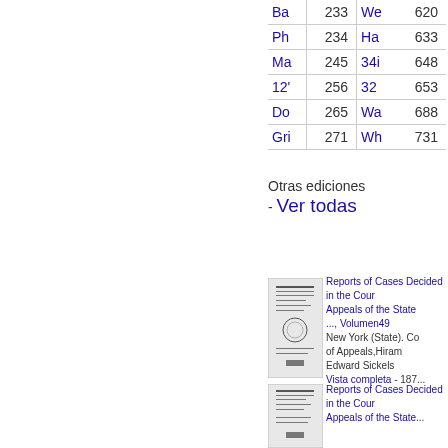| Ba | 233 | We | 620 |
| Ph | 234 | Ha | 633 |
| Ma | 245 | 34i | 648 |
| 12' | 256 | 32 | 653 |
| Do | 265 | Wa | 688 |
| Gri | 271 | Wh | 731 |
Otras ediciones - Ver todas
[Figure (illustration): Book cover thumbnail for Reports of Cases Decided in the Court of Appeals of the State, Volumen 49]
Reports of Cases Decided in the Court of Appeals of the State ..., Volumen49
New York (State). Court of Appeals, Hiram Edward Sickels
Vista completa - 187...
[Figure (illustration): Book cover thumbnail for Reports of Cases Decided in the Court of Appeals of the State (second entry)]
Reports of Cases Decided in the Court of Appeals of the State...